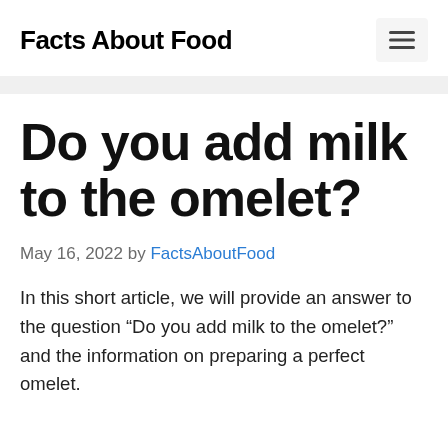Facts About Food
Do you add milk to the omelet?
May 16, 2022 by FactsAboutFood
In this short article, we will provide an answer to the question “Do you add milk to the omelet?” and the information on preparing a perfect omelet.